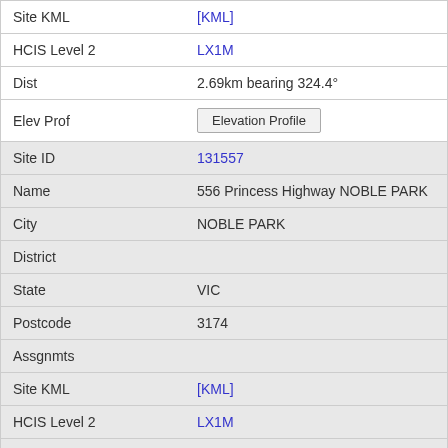| Field | Value |
| --- | --- |
| Site KML | [KML] |
| HCIS Level 2 | LX1M |
| Dist | 2.69km bearing 324.4° |
| Elev Prof | Elevation Profile |
| Site ID | 131557 |
| Name | 556 Princess Highway NOBLE PARK |
| City | NOBLE PARK |
| District |  |
| State | VIC |
| Postcode | 3174 |
| Assgnmts |  |
| Site KML | [KML] |
| HCIS Level 2 | LX1M |
| Dist | 2.70km bearing 278.9° |
| Elev Prof | Elevation Profile |
| Site ID | 51705 |